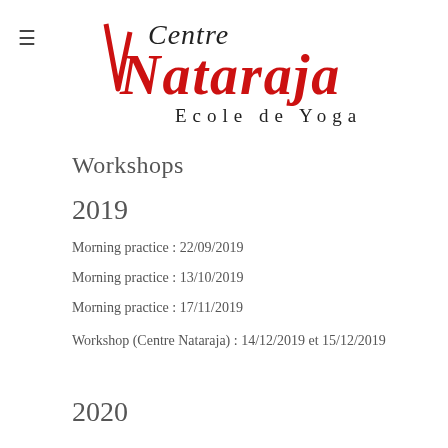[Figure (logo): Centre Nataraja Ecole de Yoga logo with red and black stylized text]
Workshops
2019
Morning practice : 22/09/2019
Morning practice : 13/10/2019
Morning practice : 17/11/2019
Workshop (Centre Nataraja) : 14/12/2019 et 15/12/2019
2020